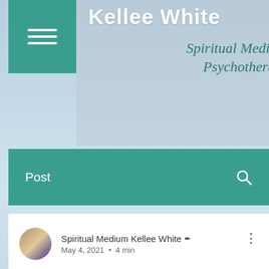[Figure (screenshot): Website screenshot of Kellee White Spiritual Medium and Psychotherapist blog with header banner, navigation bar, author info, post title 'May 2021 Astrology Report!' and a blurred bottom image.]
Kellee White
Spiritual Medium and Psychotherapist
Post
Spiritual Medium Kellee White ✒ May 4, 2021 • 4 min
May 2021 Astrology Report!